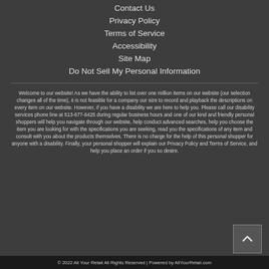Contact Us
Privacy Policy
Terms of Service
Accessibility
Site Map
Do Not Sell My Personal Information
Welcome to our website! As we have the ability to list over one million items on our website (our selection changes all of the time), it is not feasible for a company our size to record and playback the descriptions on every item on our website. However, if you have a disability we are here to help you. Please call our disability services phone line at 513-677-6425 during regular business hours and one of our kind and friendly personal shoppers will help you navigate through our website, help conduct advanced searches, help you choose the item you are looking for with the specifications you are seeking, read you the specifications of any item and consult with you about the products themselves. There is no charge for the help of this personal shopper for anyone with a disability. Finally, your personal shopper will explain our Privacy Policy and Terms of Service, and help you place an order if you so desire.
© 2022 All Your Retail All Rights Reserved | Powered by AllYourRetail.com